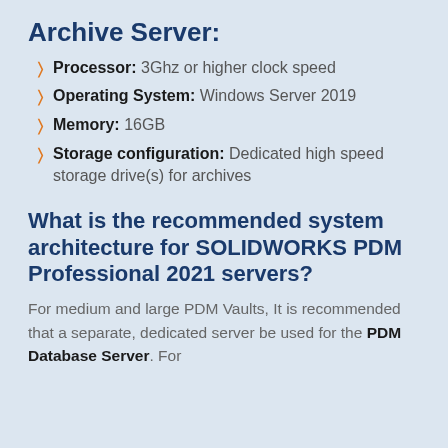Archive Server:
Processor: 3Ghz or higher clock speed
Operating System: Windows Server 2019
Memory: 16GB
Storage configuration: Dedicated high speed storage drive(s) for archives
What is the recommended system architecture for SOLIDWORKS PDM Professional 2021 servers?
For medium and large PDM Vaults, It is recommended that a separate, dedicated server be used for the PDM Database Server. For